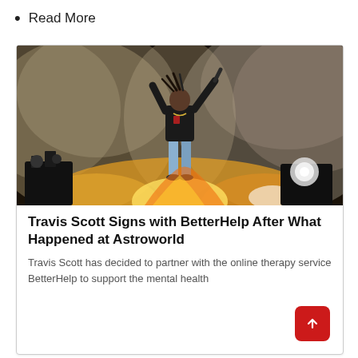Read More
[Figure (photo): Concert performer on stage with dramatic smoke and fire effects, wearing black jacket and light blue jeans, arms raised, performing at Astroworld festival]
Travis Scott Signs with BetterHelp After What Happened at Astroworld
Travis Scott has decided to partner with the online therapy service BetterHelp to support the mental health